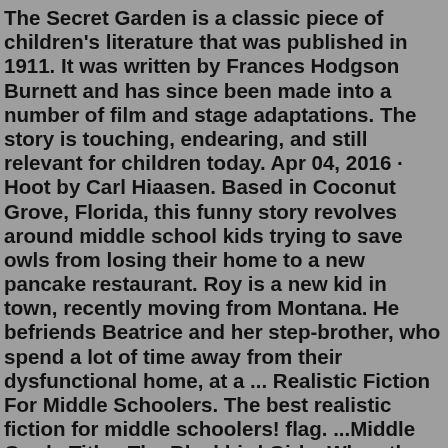The Secret Garden is a classic piece of children's literature that was published in 1911. It was written by Frances Hodgson Burnett and has since been made into a number of film and stage adaptations. The story is touching, endearing, and still relevant for children today. Apr 04, 2016 · Hoot by Carl Hiaasen. Based in Coconut Grove, Florida, this funny story revolves around middle school kids trying to save owls from losing their home to a new pancake restaurant. Roy is a new kid in town, recently moving from Montana. He befriends Beatrice and her step-brother, who spend a lot of time away from their dysfunctional home, at a ... Realistic Fiction For Middle Schoolers. The best realistic fiction for middle schoolers! flag. ...Middle Grade Titles The Blackbird Girls. When three young girls tell their stories from different points of view, they show that hatred,... Peacemaker. In the Five Nations of the Iroquois, there have been wars between them for too long, and no one can remember... The Journey of Little Charlie. When Jun 02, 2021 · Middle school readers vary